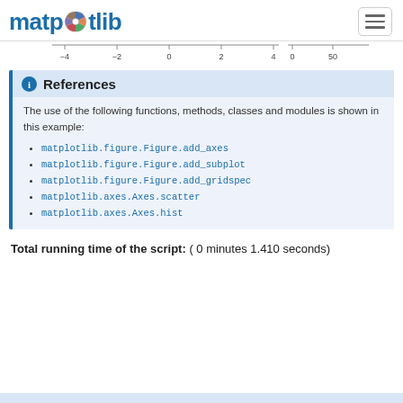matplotlib
[Figure (continuous-plot): Partial axis strip showing x-axis ticks at -4, -2, 0, 2, 4 and a second axis at 0, 50]
References
The use of the following functions, methods, classes and modules is shown in this example:
matplotlib.figure.Figure.add_axes
matplotlib.figure.Figure.add_subplot
matplotlib.figure.Figure.add_gridspec
matplotlib.axes.Axes.scatter
matplotlib.axes.Axes.hist
Total running time of the script: ( 0 minutes 1.410 seconds)